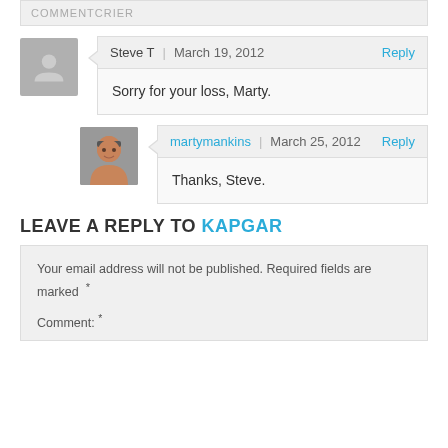[COMMENTCRIER]
Steve T  |  March 19, 2012   Reply
Sorry for your loss, Marty.
martymankins  |  March 25, 2012   Reply
Thanks, Steve.
LEAVE A REPLY TO KAPGAR
Your email address will not be published. Required fields are marked *
Comment: *